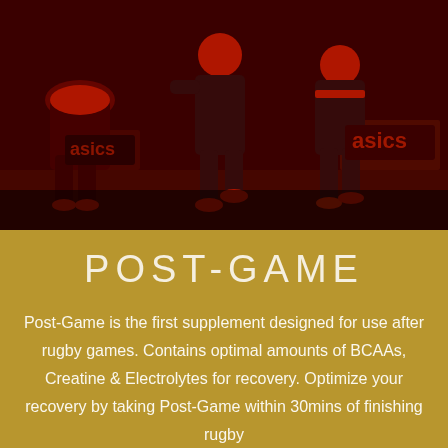[Figure (photo): Red-tinted stylized photograph of rugby players running on a field, wearing dark jerseys. Asics brand logos visible in the background. Heavily saturated red/dark tone overlay.]
POST-GAME
Post-Game is the first supplement designed for use after rugby games. Contains optimal amounts of BCAAs, Creatine & Electrolytes for recovery. Optimize your recovery by taking Post-Game within 30mins of finishing rugby